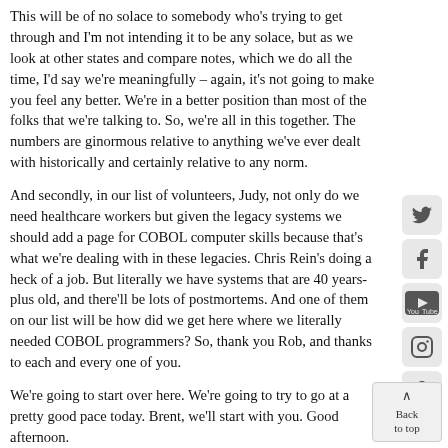This will be of no solace to somebody who's trying to get through and I'm not intending it to be any solace, but as we look at other states and compare notes, which we do all the time, I'd say we're meaningfully – again, it's not going to make you feel any better. We're in a better position than most of the folks that we're talking to. So, we're all in this together. The numbers are ginormous relative to anything we've ever dealt with historically and certainly relative to any norm.
And secondly, in our list of volunteers, Judy, not only do we need healthcare workers but given the legacy systems we should add a page for COBOL computer skills because that's what we're dealing with in these legacies. Chris Rein's doing a heck of a job. But literally we have systems that are 40 years-plus old, and there'll be lots of postmortems. And one of them on our list will be how did we get here where we literally needed COBOL programmers? So, thank you Rob, and thanks to each and every one of you.
We're going to start over here. We're going to try to go at a pretty good pace today. Brent, we'll start with you. Good afternoon.
Q&A Session:
Brent Johnson, Star-Ledger: Yes, good afternoon.
Governor Phil Murphy: Good afternoon. Brendan's got the microphone. That's Brendan who's with you.
Brent Johnson, Star-Ledger: No problem, hi Brendan. So, Colonel, do you have any more information on where that basketball game...